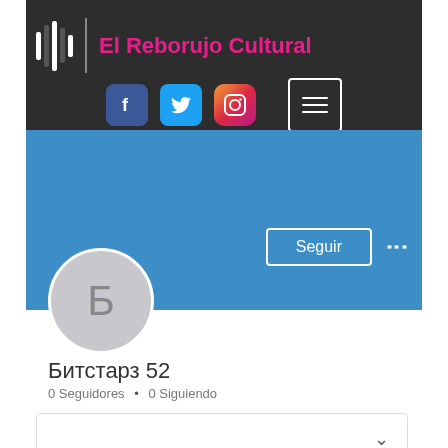[Figure (screenshot): Header banner for 'El Reborujo Cultural' podcast/media page with dark background, waveform icon, pink title text, Facebook, Twitter, Instagram social icons and a menu hamburger button]
[Figure (screenshot): Blue profile banner with Seguir (Follow) button and three-dots menu]
[Figure (illustration): Circular avatar with letter Б on light grey background]
Битстарз 52
0 Seguidores • 0 Siguiendo
Perfil